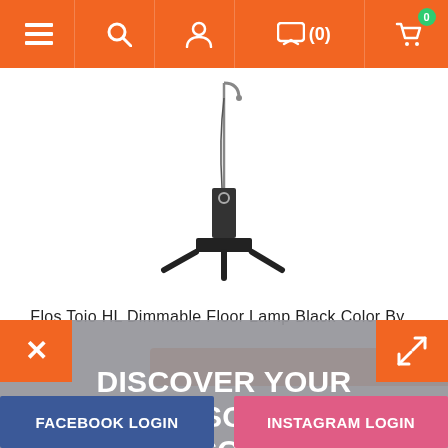Navigation bar with menu, search, user, messages (0), and cart (0) icons
[Figure (photo): Flos Toio HL Dimmable Floor Lamp in black, tall slender floor lamp with cable and base]
Flos Toio HL Dimmable Floor Lamp Black Color By...
DISCOVER YOUR PERSONAL DISCOUNT
FACEBOOK LOGIN
INSTAGRAM LOGIN